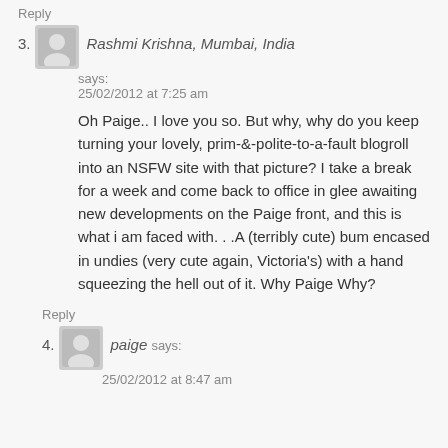Reply
3. Rashmi Krishna, Mumbai, India says:
25/02/2012 at 7:25 am
Oh Paige.. I love you so. But why, why do you keep turning your lovely, prim-&-polite-to-a-fault blogroll into an NSFW site with that picture? I take a break for a week and come back to office in glee awaiting new developments on the Paige front, and this is what i am faced with. . .A (terribly cute) bum encased in undies (very cute again, Victoria's) with a hand squeezing the hell out of it. Why Paige Why?
Reply
4. paige says:
25/02/2012 at 8:47 am